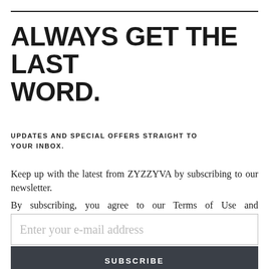ALWAYS GET THE LAST WORD.
UPDATES AND SPECIAL OFFERS STRAIGHT TO YOUR INBOX.
Keep up with the latest from ZYZZYVA by subscribing to our newsletter.
By subscribing, you agree to our Terms of Use and acknowledge that your information will be used as described in our Privacy Notice.
Enter your e-mail address
SUBSCRIBE